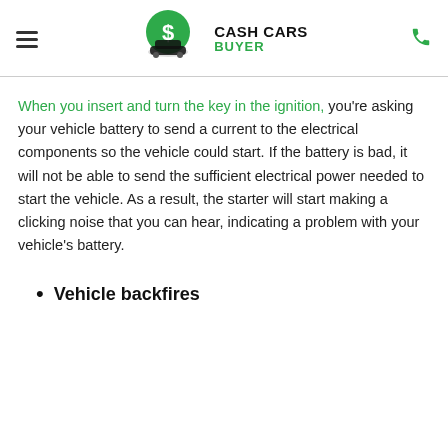Cash Cars Buyer
When you insert and turn the key in the ignition, you're asking your vehicle battery to send a current to the electrical components so the vehicle could start. If the battery is bad, it will not be able to send the sufficient electrical power needed to start the vehicle. As a result, the starter will start making a clicking noise that you can hear, indicating a problem with your vehicle's battery.
Vehicle backfires